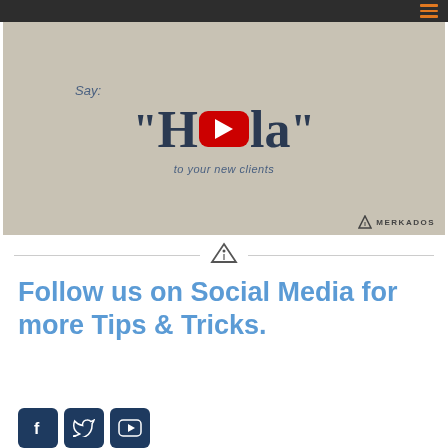[Figure (screenshot): YouTube video thumbnail showing 'Say: Hola to your new clients' with YouTube play button, Merkados branding, dark top navigation bar with hamburger menu]
[Figure (logo): Merkados logo divider with horizontal lines on either side and a triangle logo icon in center]
Follow us on Social Media for more Tips & Tricks.
[Figure (infographic): Three social media icon buttons: Facebook (f), Twitter (bird), YouTube (play button) in dark navy blue rounded square buttons]